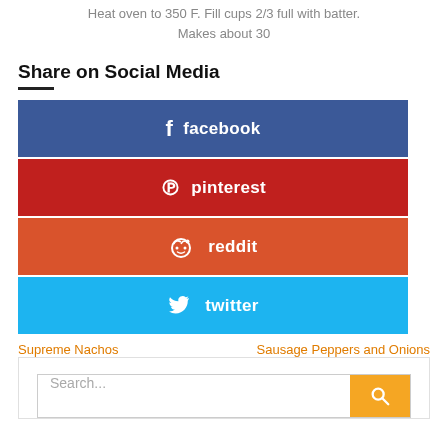Heat oven to 350 F. Fill cups 2/3 full with batter. Makes about 30
Share on Social Media
[Figure (infographic): Social media share buttons: facebook (blue), pinterest (red), reddit (orange-red), twitter (blue)]
Supreme Nachos   Sausage Peppers and Onions
[Figure (screenshot): Search bar with orange search button]